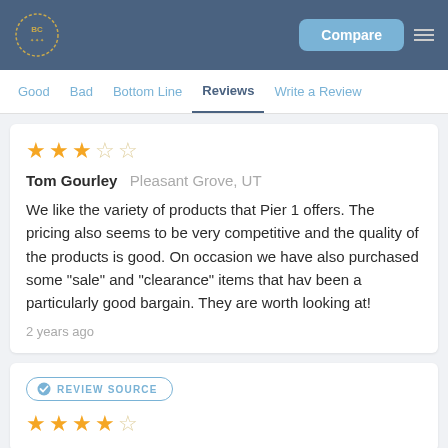BC logo | Compare | menu
Good | Bad | Bottom Line | Reviews | Write a Review
★★★☆☆
Tom Gourley  Pleasant Grove, UT
We like the variety of products that Pier 1 offers. The pricing also seems to be very competitive and the quality of the products is good. On occasion we have also purchased some "sale" and "clearance" items that hav been a particularly good bargain. They are worth looking at!
2 years ago
REVIEW SOURCE
★★★★☆